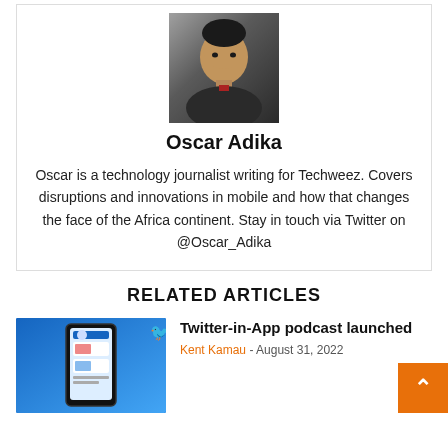[Figure (photo): Headshot photo of Oscar Adika, a young man in dark clothing against a neutral background]
Oscar Adika
Oscar is a technology journalist writing for Techweez. Covers disruptions and innovations in mobile and how that changes the face of the Africa continent. Stay in touch via Twitter on @Oscar_Adika
RELATED ARTICLES
[Figure (photo): Thumbnail image of a smartphone showing a Twitter app interface on a blue background with Twitter bird logo]
Twitter-in-App podcast launched
Kent Kamau - August 31, 2022